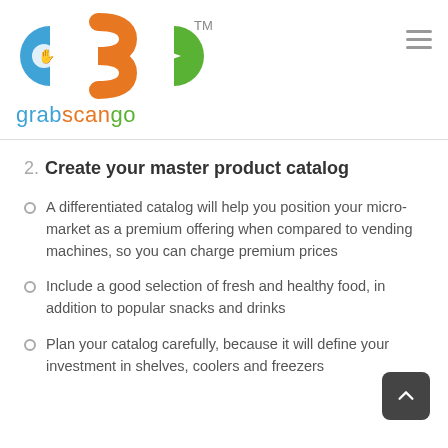[Figure (logo): GrabScanGo logo with three interlocking circular arrows in blue, orange, and green, with TM mark, and the brand name 'grabscango' below in matching colors]
2. Create your master product catalog
A differentiated catalog will help you position your micro-market as a premium offering when compared to vending machines, so you can charge premium prices
Include a good selection of fresh and healthy food, in addition to popular snacks and drinks
Plan your catalog carefully, because it will define your investment in shelves, coolers and freezers